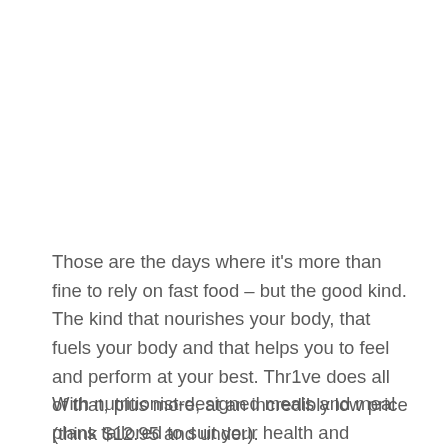Those are the days where it's more than fine to rely on fast food – but the good kind. The kind that nourishes your body, that fuels your body and that helps you to feel and perform at your best. Thr1ve does all of that, plus more, at an incredibly low price (think $12.95 and under).
With nutritionist-designed meals and meal plans tailored to suit your health and wellness objectives, Thr1ve uses